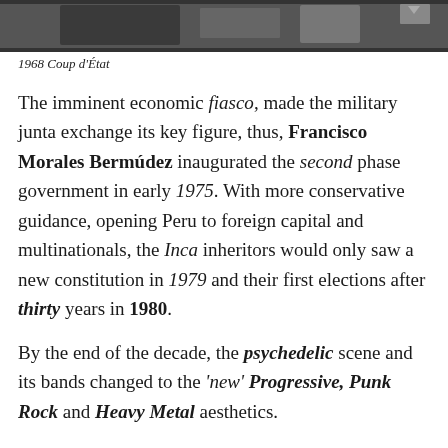[Figure (photo): Black and white photograph strip showing a partial view of people or machinery, partial image at top of page]
1968 Coup d'État
The imminent economic fiasco, made the military junta exchange its key figure, thus, Francisco Morales Bermúdez inaugurated the second phase government in early 1975. With more conservative guidance, opening Peru to foreign capital and multinationals, the Inca inheritors would only saw a new constitution in 1979 and their first elections after thirty years in 1980.
By the end of the decade, the psychedelic scene and its bands changed to the 'new' Progressive, Punk Rock and Heavy Metal aesthetics.